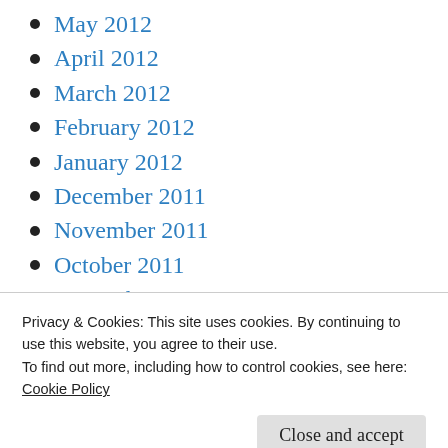May 2012
April 2012
March 2012
February 2012
January 2012
December 2011
November 2011
October 2011
September 2011
August 2011
July 2011
Privacy & Cookies: This site uses cookies. By continuing to use this website, you agree to their use.
To find out more, including how to control cookies, see here:
Cookie Policy
February 2011